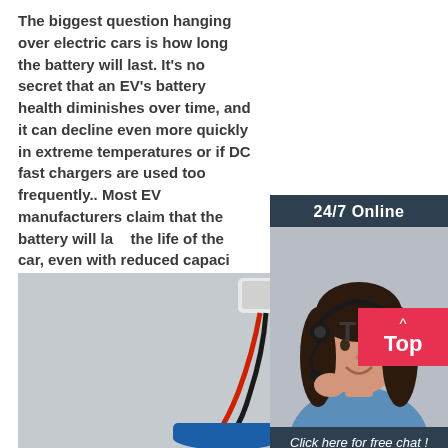The biggest question hanging over electric cars is how long the battery will last. It's no secret that an EV's battery health diminishes over time, and it can decline even more quickly in extreme temperatures or if DC fast chargers are used too frequently.. Most EV manufacturers claim that the battery will last the life of the car, even with reduced capacity taken into account.
[Figure (photo): Customer service representative with headset, smiling, shown in a chat/support widget with '24/7 Online' header, 'Click here for free chat!' text, and an orange 'QUOTATION' button]
[Figure (photo): Photo of a small battery connector/plug with red and black wires attached to a circular blue battery, on a light gray background, partially visible with a 'Top' back-to-top button overlay]